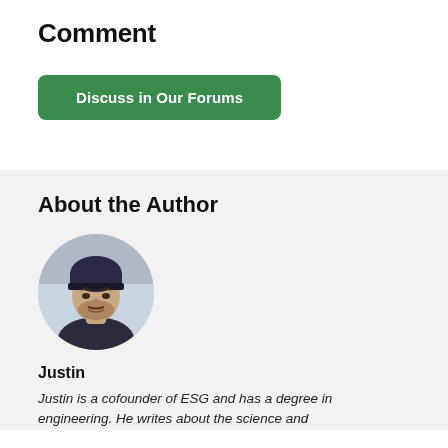Comment
Discuss in Our Forums
About the Author
[Figure (photo): Circular portrait photo of Justin, a man wearing a dark knit beanie hat, with a beard, against a light background.]
Justin
Justin is a cofounder of ESG and has a degree in engineering. He writes about the science and